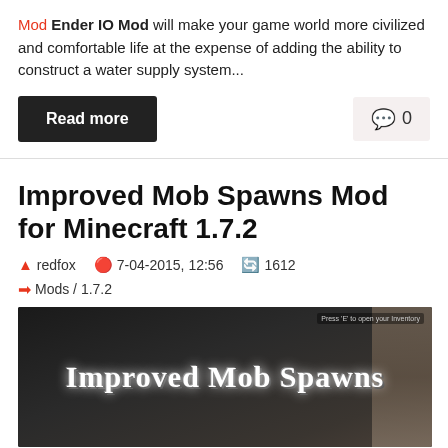Mod Ender IO Mod will make your game world more civilized and comfortable life at the expense of adding the ability to construct a water supply system...
Read more
0
Improved Mob Spawns Mod for Minecraft 1.7.2
redfox  7-04-2015, 12:56  1612
Mods / 1.7.2
[Figure (screenshot): Screenshot of Minecraft showing 'Improved Mob Spawns' text in a cave environment with stone textures]